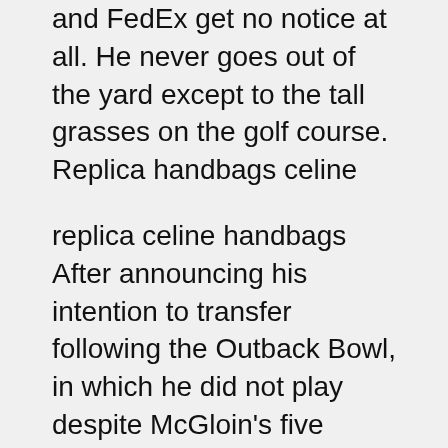and FedEx get no notice at all. He never goes out of the yard except to the tall grasses on the golf course. Replica handbags celine
replica celine handbags After announcing his intention to transfer following the Outback Bowl, in which he did not play despite McGloin's five interception day, Bolden returned to the team. Two weeks ago, before spring drills began, Bolden didn't sound completely committed to staying at Penn State, saying he would revisit the issue once practice concluded. He has practiced well, however, and Paterno said he's keeping his “fingers crossed” that Bolden will remain.. replica celine handbags
Celine Luggage Tote Replica Is the biggest month and our biggest month, Silver said. Can really make connections with coaches for kids and lay